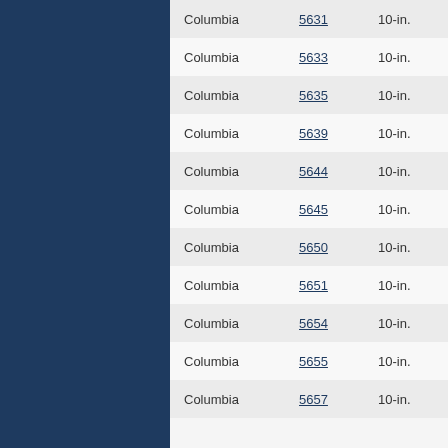|  |  |  |
| --- | --- | --- |
| Columbia | 5631 | 10-in. |
| Columbia | 5633 | 10-in. |
| Columbia | 5635 | 10-in. |
| Columbia | 5639 | 10-in. |
| Columbia | 5644 | 10-in. |
| Columbia | 5645 | 10-in. |
| Columbia | 5650 | 10-in. |
| Columbia | 5651 | 10-in. |
| Columbia | 5654 | 10-in. |
| Columbia | 5655 | 10-in. |
| Columbia | 5657 | 10-in. |